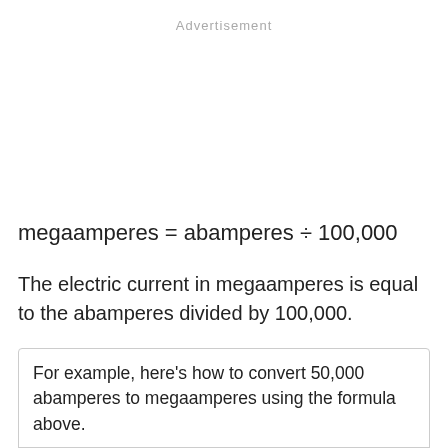Advertisement
The electric current in megaamperes is equal to the abamperes divided by 100,000.
For example, here's how to convert 50,000 abamperes to megaamperes using the formula above.